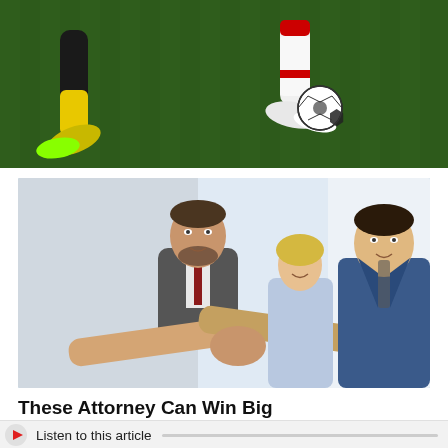[Figure (photo): Soccer players' legs and feet near a ball on a grass field, one player wearing yellow socks and cleats, another in white/red striped socks]
[Figure (photo): Business people shaking hands in an office setting, a man in a suit with a tie, a blonde woman, and a man in a blue jacket shaking hands]
These Attorney Can Win Big Settlements - Free Consultations
Employment Lawyer | Search Ads
Learn More
Listen to this article